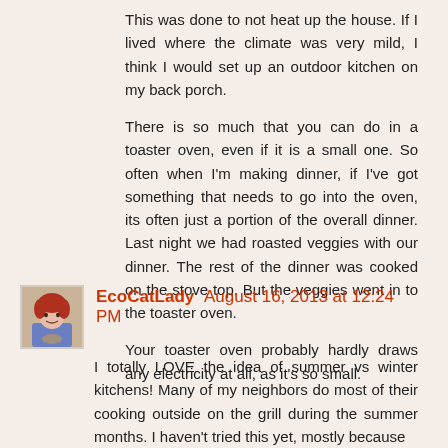This was done to not heat up the house. If I lived where the climate was very mild, I think I would set up an outdoor kitchen on my back porch.
There is so much that you can do in a toaster oven, even if it is a small one. So often when I'm making dinner, if I've got something that needs to go into the oven, its often just a portion of the overall dinner. Last night we had roasted veggies with our dinner. The rest of the dinner was cooked on the stove top. But the veggies went in to the toaster oven.
Your toaster oven probably hardly draws any electricity at all, as it's so small.
EcoCatLady August 16, 2013 at 12:24 PM
I totally LOVE the idea of summer vs winter kitchens! Many of my neighbors do most of their cooking outside on the grill during the summer months. I haven't tried this yet, mostly because